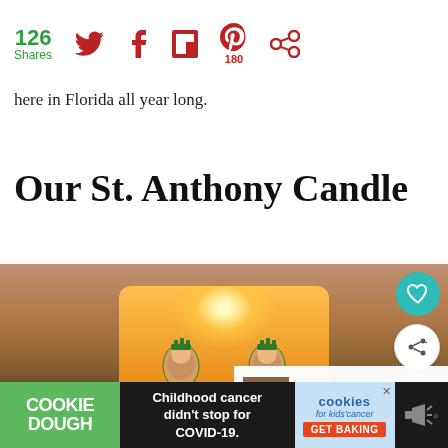126 Shares  [Twitter icon]  [Facebook icon]  [Flipboard icon]  [Pinterest icon] 180  [Share icon]
here in Florida all year long.
Our St. Anthony Candle
[Figure (photo): Hands holding a St. Anthony prayer candle with a glowing flame. Two saint figures in green robes are printed on the glass jar candle. A 'What's Next' overlay shows 'Homemade Sausage an...' with a thumbnail. Heart save and share buttons are overlaid on the photo.]
[Figure (screenshot): Advertisement bar at the bottom: Cookie Dough logo in green, text 'Childhood cancer didn't stop for COVID-19.', cookies for kids cancer logo with 'GET BAKING' button.]